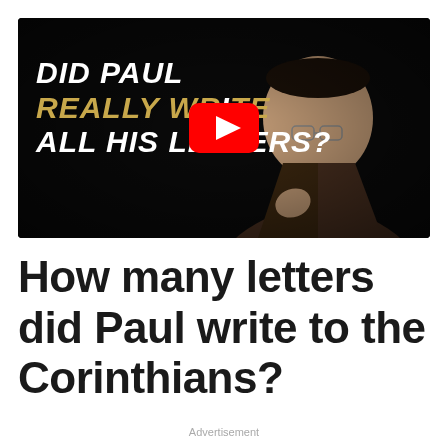[Figure (screenshot): Video thumbnail with dark/black background showing a man in a brown jacket and yellow shirt wearing glasses, with overlaid italic bold white and gold text reading 'DID PAUL REALLY WRITE ALL HIS LETTERS?' and a YouTube play button in the center.]
How many letters did Paul write to the Corinthians?
Advertisement